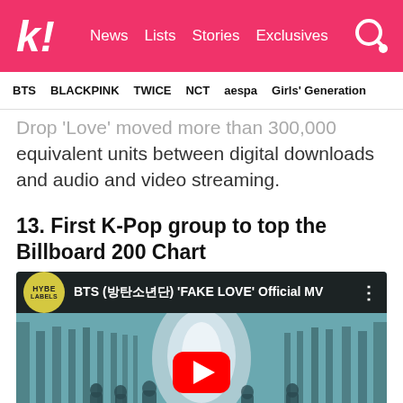k! News  Lists  Stories  Exclusives
BTS  BLACKPINK  TWICE  NCT  aespa  Girls' Generation
Drop 'Love' moved more than 300,000 equivalent units between digital downloads and audio and video streaming.
13. First K-Pop group to top the Billboard 200 Chart
[Figure (screenshot): YouTube video thumbnail for BTS (방탄소년단) 'FAKE LOVE' Official MV, showing HYBE Labels channel icon and a scene from the music video with figures in an ornate hall, with a YouTube play button overlay.]